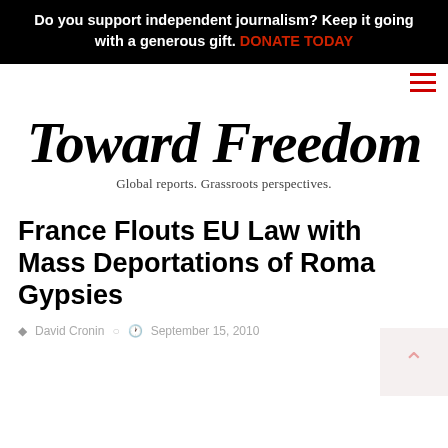Do you support independent journalism? Keep it going with a generous gift. DONATE TODAY
[Figure (logo): Toward Freedom logo with brush-script text and tagline 'Global reports. Grassroots perspectives.']
France Flouts EU Law with Mass Deportations of Roma Gypsies
David Cronin  September 15, 2010